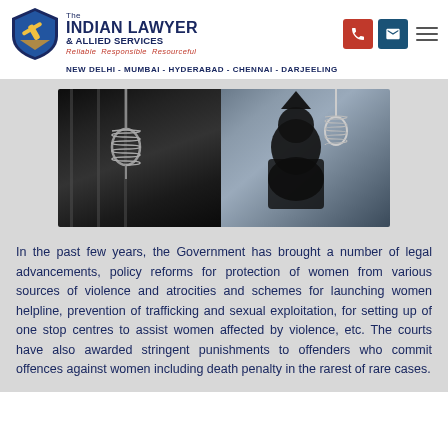[Figure (logo): The Indian Lawyer & Allied Services logo with shield emblem and tagline 'Reliable Responsible Resourceful']
NEW DELHI - MUMBAI - HYDERABAD - CHENNAI - DARJEELING
[Figure (photo): Two dark images showing noose/hanging ropes — one inside a jail cell, one with a hooded figure — representing capital punishment theme]
In the past few years, the Government has brought a number of legal advancements, policy reforms for protection of women from various sources of violence and atrocities and schemes for launching women helpline, prevention of trafficking and sexual exploitation, for setting up of one stop centres to assist women affected by violence, etc. The courts have also awarded stringent punishments to offenders who commit offences against women including death penalty in the rarest of rare cases.